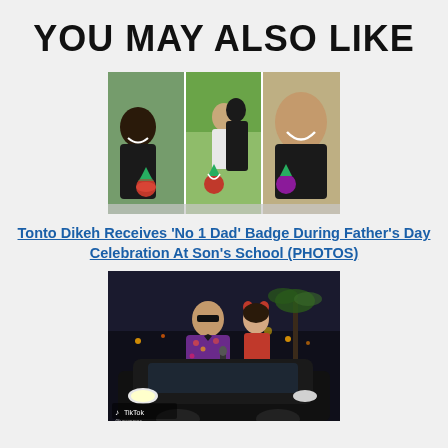YOU MAY ALSO LIKE
[Figure (photo): Three-panel collage photo of Tonto Dikeh with her son at Father's Day celebration at school, showing ribbons/badges]
Tonto Dikeh Receives ‘No 1 Dad’ Badge During Father’s Day Celebration At Son’s School (PHOTOS)
[Figure (photo): Photo of a man in a floral blazer and a woman in a red dress standing by a black SUV at night, with TikTok watermark]